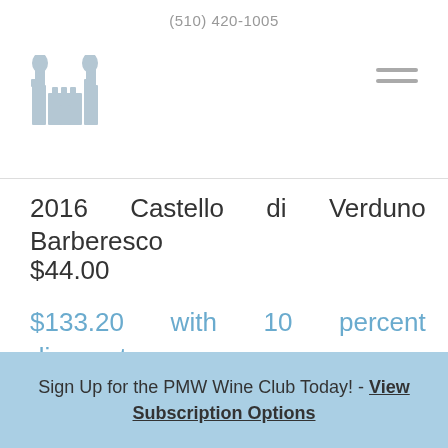(510) 420-1005
[Figure (logo): Wine shop logo with building/bottles illustration]
2016 Castello di Verduno Barberesco $44.00
$133.20 with 10 percent discount (Normally $148.00)
Sign Up for the PMW Wine Club Today! - View Subscription Options